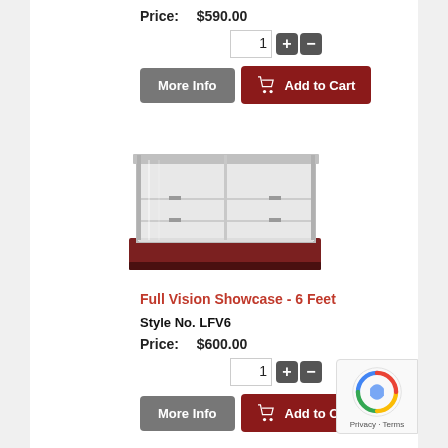Price: $590.00
[Figure (screenshot): Quantity input box showing 1, plus and minus buttons]
[Figure (screenshot): More Info button (gray) and Add to Cart button (dark red with cart icon)]
[Figure (photo): Full Vision Showcase - 6 Feet glass display case product image]
Full Vision Showcase - 6 Feet
Style No. LFV6
Price: $600.00
[Figure (screenshot): Quantity input box showing 1, plus and minus buttons]
[Figure (screenshot): More Info button (gray) and Add to Cart button (dark red with cart icon)]
[Figure (screenshot): reCAPTCHA badge with Privacy and Terms text]